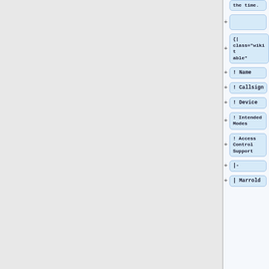the time.
{|
class="wikitable"
! Name
! Callsign
! Device
! Intended Modes
! Access Control Support
|-
| Marrold